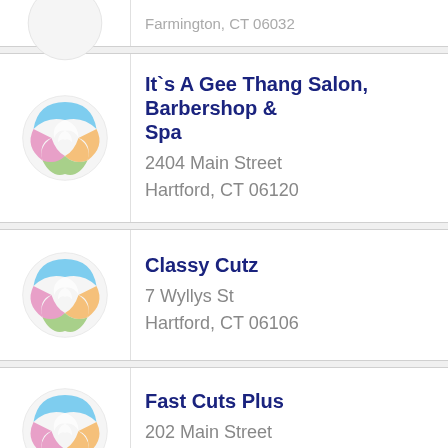It`s A Gee Thang Salon, Barbershop & Spa
2404 Main Street
Hartford, CT 06120
Classy Cutz
7 Wyllys St
Hartford, CT 06106
Fast Cuts Plus
202 Main Street
Farmington, CT 06032